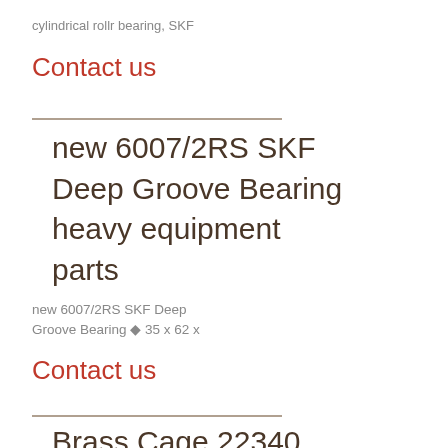cylindrical rollr bearing, SKF
Contact us
new 6007/2RS SKF Deep Groove Bearing heavy equipment parts
new 6007/2RS SKF Deep Groove Bearing ◆ 35 x 62 x
Contact us
Brass Cage 22340 CAK / C3 W33 SKF